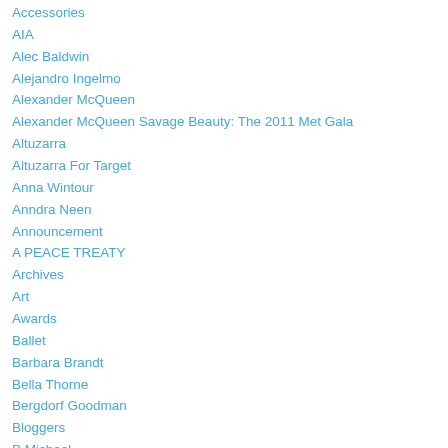Accessories
AIA
Alec Baldwin
Alejandro Ingelmo
Alexander McQueen
Alexander McQueen Savage Beauty: The 2011 Met Gala
Altuzarra
Altuzarra For Target
Anna Wintour
Anndra Neen
Announcement
A PEACE TREATY
Archives
Art
Awards
Ballet
Barbara Brandt
Bella Thorne
Bergdorf Goodman
Bloggers
B Michael